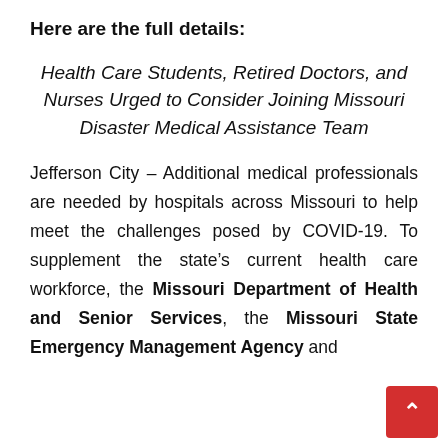Here are the full details:
Health Care Students, Retired Doctors, and Nurses Urged to Consider Joining Missouri Disaster Medical Assistance Team
Jefferson City – Additional medical professionals are needed by hospitals across Missouri to help meet the challenges posed by COVID-19. To supplement the state's current health care workforce, the Missouri Department of Health and Senior Services, the Missouri State Emergency Management Agency and